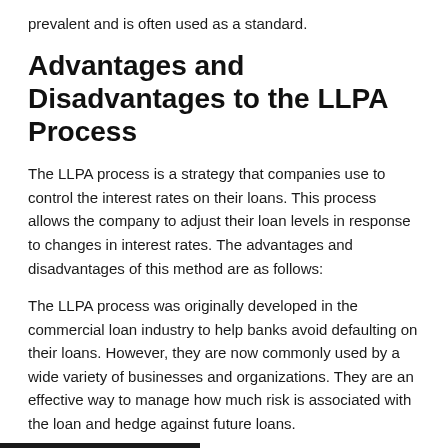prevalent and is often used as a standard.
Advantages and Disadvantages to the LLPA Process
The LLPA process is a strategy that companies use to control the interest rates on their loans. This process allows the company to adjust their loan levels in response to changes in interest rates. The advantages and disadvantages of this method are as follows:
The LLPA process was originally developed in the commercial loan industry to help banks avoid defaulting on their loans. However, they are now commonly used by a wide variety of businesses and organizations. They are an effective way to manage how much risk is associated with the loan and hedge against future loans.